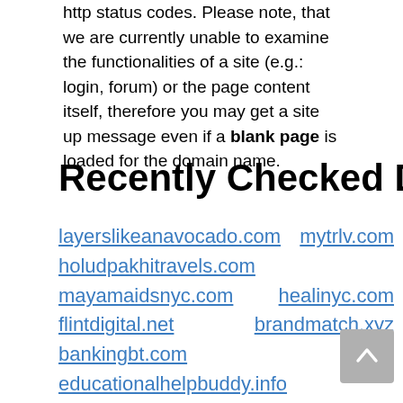http status codes. Please note, that we are currently unable to examine the functionalities of a site (e.g.: login, forum) or the page content itself, therefore you may get a site up message even if a blank page is loaded for the domain name.
Recently Checked Domain
layerslikeanavocado.com
mytrlv.com
holudpakhitravels.com
mayamaidsnyc.com
healinyc.com
flintdigital.net
brandmatch.xyz
bankingbt.com
educationalhelpbuddy.info
mynotesbank.com
xcnb06.cc
cincosequndodainovacao.site